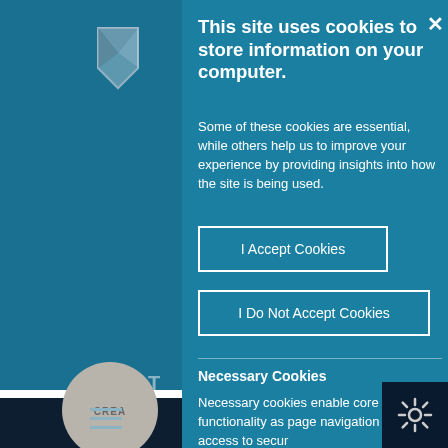[Figure (screenshot): Website background with dark teal sidebar showing a logo (geometric folded shape) and a circular profile placeholder labeled CREA and ALBA]
This site uses cookies to store information on your computer.
Some of these cookies are essential, while others help us to improve your experience by providing insights into how the site is being used.
I Accept Cookies
I Do Not Accept Cookies
Necessary Cookies
Necessary cookies enable core functionality as page navigation and access to secur